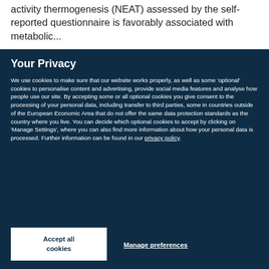activity thermogenesis (NEAT) assessed by the self-reported questionnaire is favorably associated with metabolic...
Your Privacy
We use cookies to make sure that our website works properly, as well as some 'optional' cookies to personalise content and advertising, provide social media features and analyse how people use our site. By accepting some or all optional cookies you give consent to the processing of your personal data, including transfer to third parties, some in countries outside of the European Economic Area that do not offer the same data protection standards as the country where you live. You can decide which optional cookies to accept by clicking on 'Manage Settings', where you can also find more information about how your personal data is processed. Further information can be found in our privacy policy.
Accept all cookies
Manage preferences